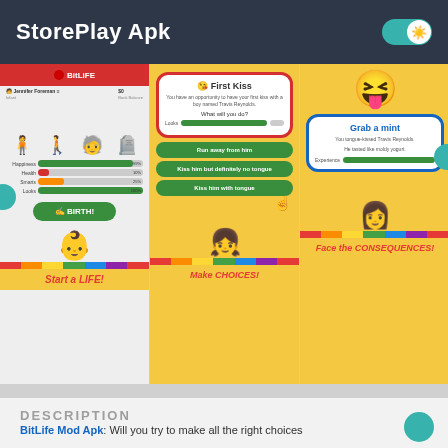StorePlay Apk
[Figure (screenshot): Three BitLife app screenshots showing: 1) Start a LIFE! screen with character stages and stats bars, 2) Make CHOICES! screen with First Kiss decision, 3) Face the CONSEQUENCES! screen with Grab a mint result]
DESCRIPTION
BitLife Mod Apk: Will you try to make all the right choices